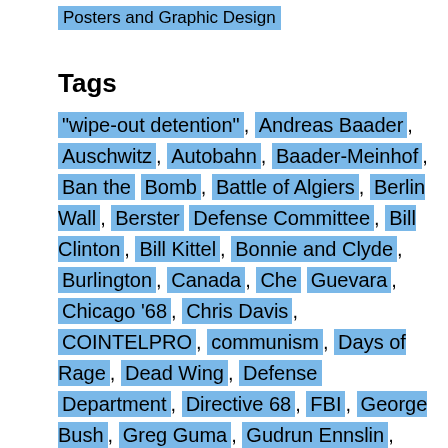Posters and Graphic Design
Tags
“wipe-out detention”, Andreas Baader, Auschwitz, Autobahn, Baader-Meinhof, Ban the Bomb, Battle of Algiers, Berlin Wall, Berster Defense Committee, Bill Clinton, Bill Kittel, Bonnie and Clyde, Burlington, Canada, Che Guevara, Chicago ’68, Chris Davis, COINTELPRO, communism, Days of Rage, Dead Wing, Defense Department, Directive 68, FBI, George Bush, Greg Guma, Gudrun Ennslin, Heidelburg, Iran, Jean-Paul Sartre, Jerome O’Neill, Jesse Berman, Kristina Berster, Kurt Georg Kiesinger, Libya, Maoism, Marighella, Montreal, Nazism,